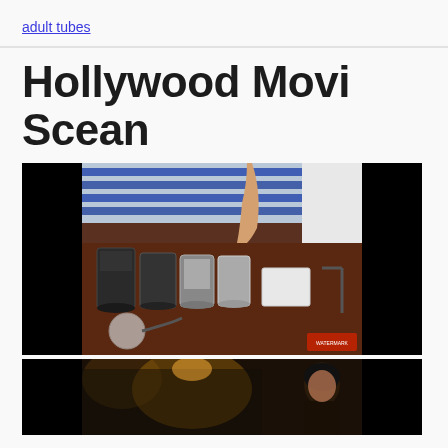adult tubes
Hollywood Movi Scean
[Figure (photo): A bathroom/kitchen countertop scene showing several jars and containers on a dark wooden surface, with a hand reaching toward them. Blue blinds and a white wall visible in the background. A stethoscope partially visible in the foreground. Small red watermark/logo in the bottom-right corner.]
[Figure (photo): Partial view of another scene, dark with warm lighting, showing a person (woman) visible on the right side.]